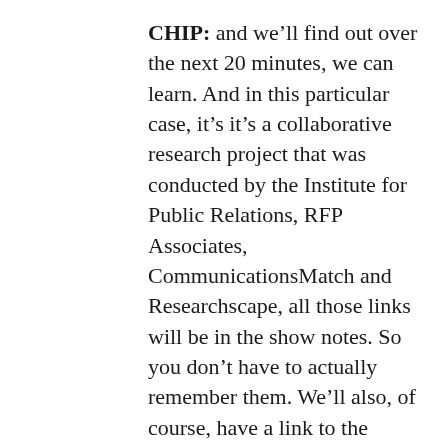CHIP: and we'll find out over the next 20 minutes, we can learn. And in this particular case, it's it's a collaborative research project that was conducted by the Institute for Public Relations, RFP Associates, CommunicationsMatch and Researchscape, all those links will be in the show notes. So you don't have to actually remember them. We'll also, of course, have a link to the survey results itself. And this survey was of senior communications executives, mostly at larger organizations, about half of them are publicly